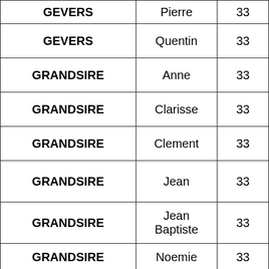| Last Name | First Name | Number |
| --- | --- | --- |
| GEVERS | Pierre | 33 |
| GEVERS | Quentin | 33 |
| GRANDSIRE | Anne | 33 |
| GRANDSIRE | Clarisse | 33 |
| GRANDSIRE | Clement | 33 |
| GRANDSIRE | Jean | 33 |
| GRANDSIRE | Jean Baptiste | 33 |
| GRANDSIRE | Noemie | 33 |